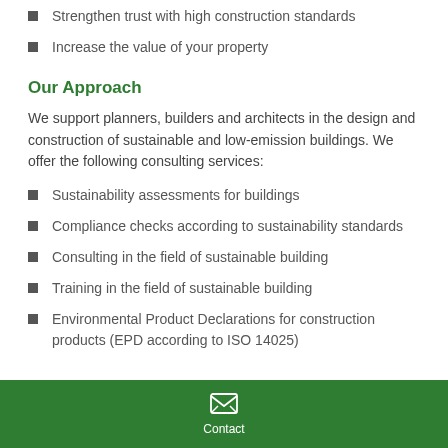Strengthen trust with high construction standards
Increase the value of your property
Our Approach
We support planners, builders and architects in the design and construction of sustainable and low-emission buildings. We offer the following consulting services:
Sustainability assessments for buildings
Compliance checks according to sustainability standards
Consulting in the field of sustainable building
Training in the field of sustainable building
Environmental Product Declarations for construction products (EPD according to ISO 14025)
Contact